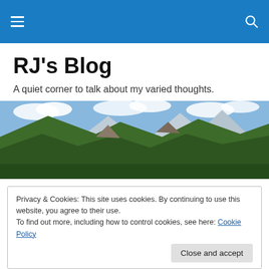RJ's Blog – navigation bar
RJ's Blog
A quiet corner to talk about my varied thoughts.
[Figure (photo): Panoramic mountain landscape with green forested hills and clouds]
Privacy & Cookies: This site uses cookies. By continuing to use this website, you agree to their use.
To find out more, including how to control cookies, see here: Cookie Policy
(Spoilers) When watching the BBC's most recent literary